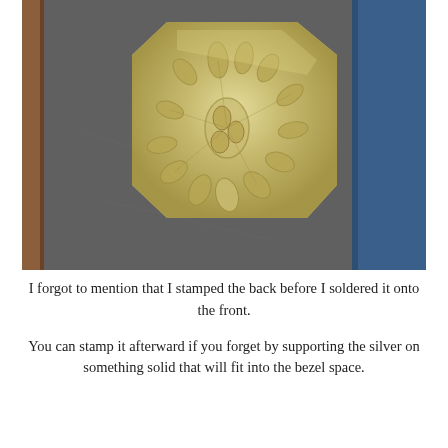[Figure (photo): A photograph of a stamped silver metal piece with an octagonal/irregular shape featuring an embossed floral or leaf pattern with oval cutout impressions arranged in a circular sunflower-like design. The piece is placed on a dark grey/charcoal textured surface, with a wooden brown edge visible on the left and a blue surface/board visible on the right.]
I forgot to mention that I stamped the back before I soldered it onto the front.
You can stamp it afterward if you forget by supporting the silver on something solid that will fit into the bezel space.